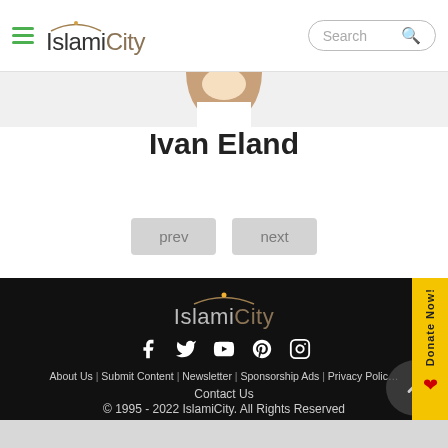IslamiCity — Search
[Figure (photo): Partial profile photo of Ivan Eland, showing bottom of face/chin area]
Ivan Eland
prev   next
IslamiCity | About Us | Submit Content | Newsletter | Sponsorship Ads | Privacy Policy | Contact Us | © 1995 - 2022 IslamiCity. All Rights Reserved | IslamiCity ™ is a registered trademark of HADI, a nonprofit 501 (c)(3) organization. (EIN: 95-4348674)